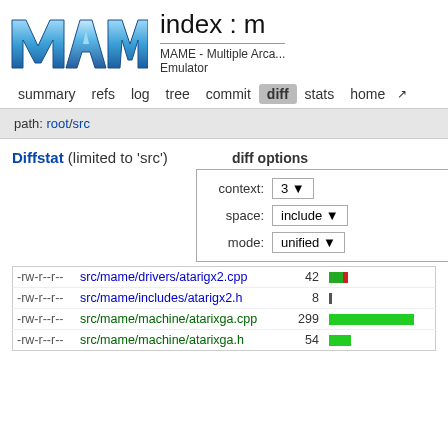[Figure (logo): MAME logo — stylized blue metallic letters MAME]
index : m
MAME - Multiple Arca... Emulator
summary   refs   log   tree   commit   diff   stats   home   ↗
path: root/src
Diffstat (limited to 'src')
diff options
| permissions | file | lines | bar |
| --- | --- | --- | --- |
| -rw-r--r-- | src/mame/drivers/atarigx2.cpp | 42 | bar |
| -rw-r--r-- | src/mame/includes/atarigx2.h | 8 | bar |
| -rw-r--r-- | src/mame/machine/atarixga.cpp | 299 | bar |
| -rw-r--r-- | src/mame/machine/atarixga.h | 54 | bar |